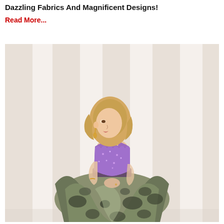Dazzling Fabrics And Magnificent Designs!
Read More...
[Figure (photo): A woman wearing a strapless ball gown with a purple lace beaded bodice and a voluminous metallic floral print skirt, standing against a light background with vertical stripes.]